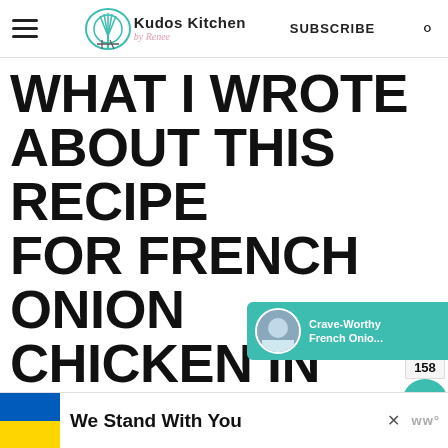Kudos Kitchen by Renee — SUBSCRIBE
WHAT I WROTE ABOUT THIS RECIPE FOR FRENCH ONION CHICKEN IN 2016:
Even though my husband and I are "empty-nesters" I still can't
[Figure (screenshot): Crave-Worthy French Onio... popup card with teal background and food image]
[Figure (infographic): Ukraine flag banner with text We Stand With You and close button]